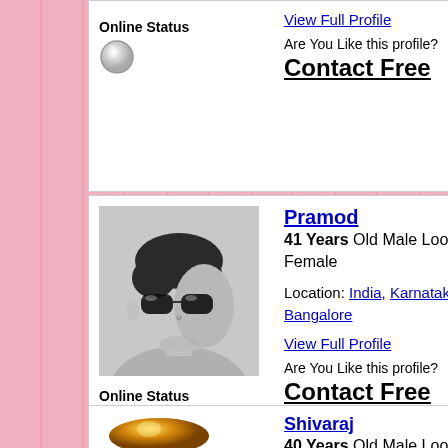Online Status
View Full Profile
Are You Like this profile?
Contact Free
[Figure (photo): Profile photo of Pramod - black and white photo of a man wearing sunglasses]
Pramod
41 Years Old Male Looking for Female
Location: India, Karnataka, Bangalore
View Full Profile
Online Status
Are You Like this profile?
Contact Free
[Figure (illustration): Golden avatar placeholder for Shivaraj profile]
Shivaraj
40 Years Old Male Looking for